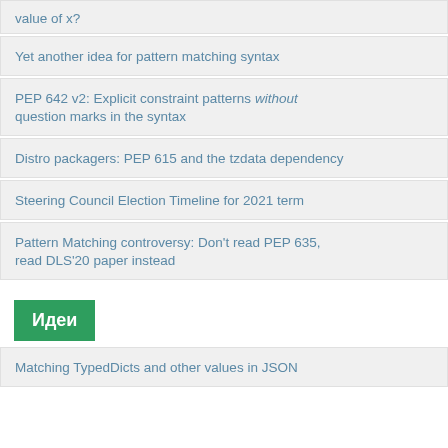value of x?
Yet another idea for pattern matching syntax
PEP 642 v2: Explicit constraint patterns without question marks in the syntax
Distro packagers: PEP 615 and the tzdata dependency
Steering Council Election Timeline for 2021 term
Pattern Matching controversy: Don't read PEP 635, read DLS'20 paper instead
Идеи
Matching TypedDicts and other values in JSON